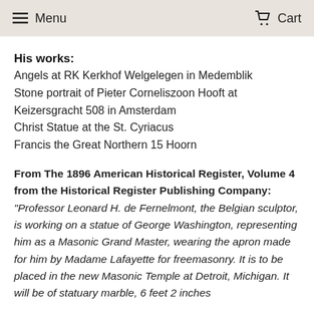Menu   Cart
His works:
Angels at RK Kerkhof Welgelegen in Medemblik
Stone portrait of Pieter Corneliszoon Hooft at Keizersgracht 508 in Amsterdam
Christ Statue at the St. Cyriacus
Francis the Great Northern 15 Hoorn
From The 1896 American Historical Register, Volume 4 from the Historical Register Publishing Company: “Professor Leonard H. de Fernelmont, the Belgian sculptor, is working on a statue of George Washington, representing him as a Masonic Grand Master, wearing the apron made for him by Madame Lafayette for freemasonry. It is to be placed in the new Masonic Temple at Detroit, Michigan. It will be of statuary marble, 6 feet 2 inches